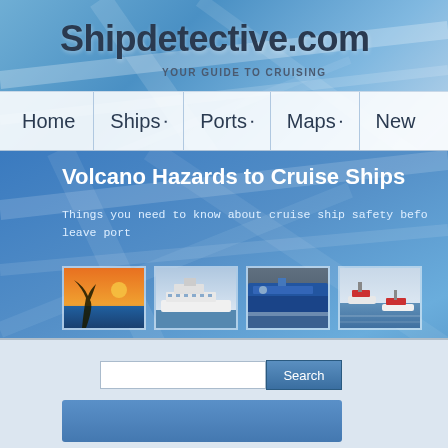Shipdetective.com
YOUR GUIDE TO CRUISING
Volcano Hazards to Cruise Ships
Things you need to know about cruise ship safety before you leave port
[Figure (screenshot): Website screenshot of Shipdetective.com showing navigation bar with Home, Ships, Ports, Maps, News items, hero banner with volcano hazards article title, four thumbnail images of ships and boats, and a search box below.]